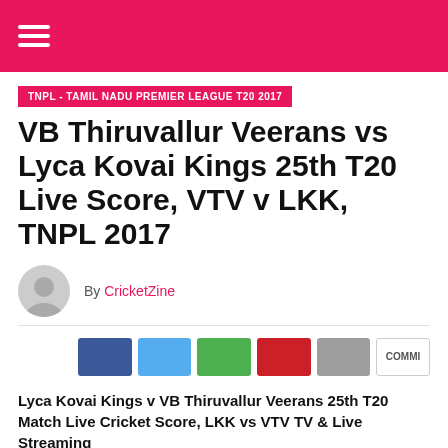TNPL - TAMIL NADU PREMIER LEAGUE T20 2017
VB Thiruvallur Veerans vs Lyca Kovai Kings 25th T20 Live Score, VTV v LKK, TNPL 2017
By CricketZine
[Figure (other): Social share buttons row: Facebook (blue), Twitter (light blue), WhatsApp (green), Pinterest (red), Google+ (grey), Comments (white outlined)]
Lyca Kovai Kings v VB Thiruvallur Veerans 25th T20 Match Live Cricket Score, LKK vs VTV TV & Live Streaming
TNPL – Tamil Nadu Premier League 2017 25th Twent20